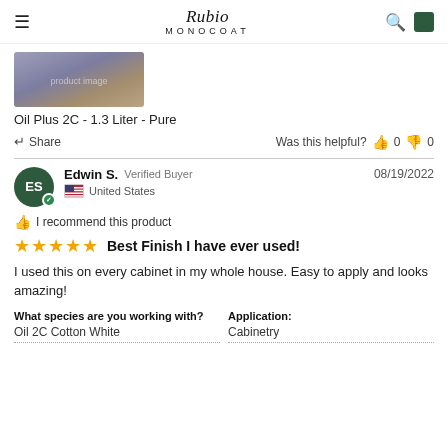Rubio MONOCOAT
[Figure (photo): Product image thumbnail - Oil Plus 2C bottle]
Oil Plus 2C - 1.3 Liter - Pure
Share  Was this helpful? 👍 0 👎 0
Edwin S. Verified Buyer  08/19/2022  United States
I recommend this product
★★★★★ Best Finish I have ever used!
I used this on every cabinet in my whole house. Easy to apply and looks amazing!
What species are you working with?
Oil 2C Cotton White
Application:
Cabinetry